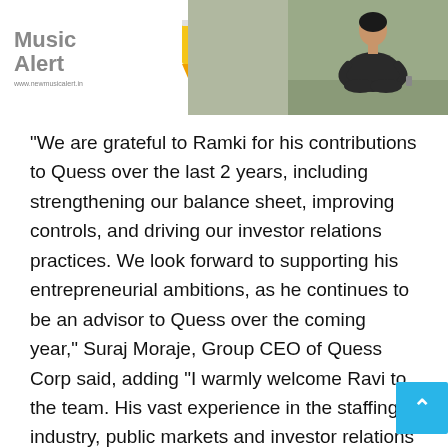[Figure (photo): New Music Alert logo on white background with a yellow pencil icon, beside a photo of a person sitting cross-legged outdoors. URL: www.newmusicalert.in]
“We are grateful to Ramki for his contributions to Quess over the last 2 years, including strengthening our balance sheet, improving controls, and driving our investor relations practices. We look forward to supporting his entrepreneurial ambitions, as he continues to be an advisor to Quess over the coming year,” Suraj Moraje, Group CEO of Quess Corp said, adding “I warmly welcome Ravi to the team. His vast experience in the staffing industry, public markets and investor relations will bring great value to Quess over the coming